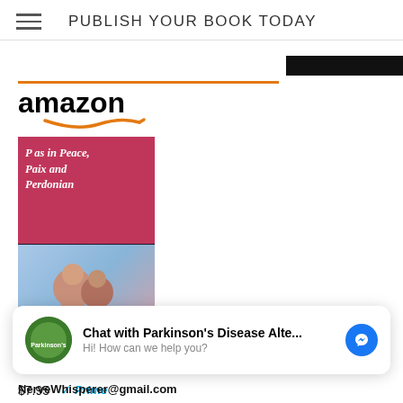PUBLISH YOUR BOOK TODAY
[Figure (illustration): Amazon advertisement widget showing book 'P as in Peace, Paix and...' priced at $7.95 with Prime badge and a 'Shop now' button]
P as in Peace, Paix and...
$7.95 Prime
Chat with Parkinson's Disease Alte... Hi! How can we help you?
NerveWhisperer@gmail.com